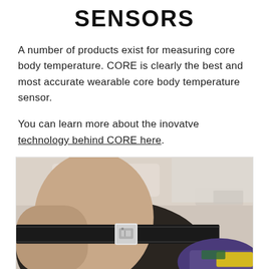SENSORS
A number of products exist for measuring core body temperature. CORE is clearly the best and most accurate wearable core body temperature sensor.
You can learn more about the inovatve technology behind CORE here.
[Figure (photo): Close-up photo of a person wearing a black strap sensor device (CORE body temperature sensor) around their torso/chest area, with colorful clothing visible.]